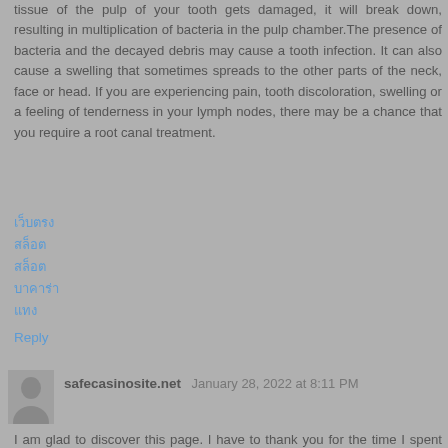tissue of the pulp of your tooth gets damaged, it will break down, resulting in multiplication of bacteria in the pulp chamber.The presence of bacteria and the decayed debris may cause a tooth infection. It can also cause a swelling that sometimes spreads to the other parts of the neck, face or head. If you are experiencing pain, tooth discoloration, swelling or a feeling of tenderness in your lymph nodes, there may be a chance that you require a root canal treatment.
เว็บตรง
สล็อต
สล็อต
บาคาร่า
แทง
Reply
safecasinosite.net  January 28, 2022 at 8:11 PM
I am glad to discover this page. I have to thank you for the time I spent on this especially great reading !! I really liked each part and also bookmarked you for new information on